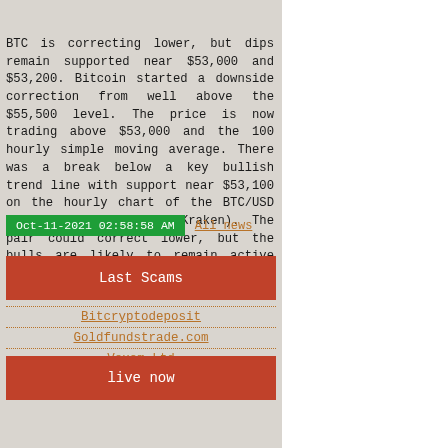BTC is correcting lower, but dips remain supported near $53,000 and $53,200. Bitcoin started a downside correction from well above the $55,500 level. The price is now trading above $53,000 and the 100 hourly simple moving average. There was a break below a key bullish trend line with support near $53,100 on the hourly chart of the BTC/USD pair (data feed from Kraken). The pair could correct lower, but the bulls are likely to remain active near $53,000 more
Oct-11-2021 02:58:58 AM
All news
Last Scams
Bitcryptodeposit
Goldfundstrade.com
Vexam Ltd
live now